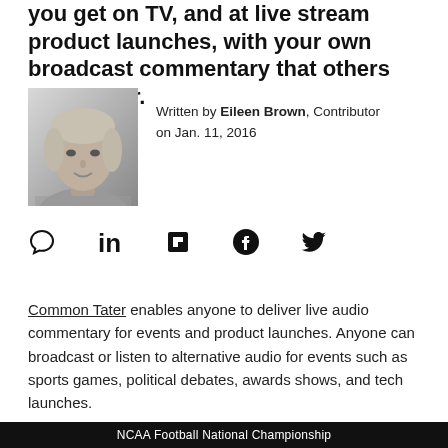you get on TV, and at live stream product launches, with your own broadcast commentary that others may prefer.
[Figure (photo): Black and white headshot photo of Eileen Brown, a contributor. Woman with light hair.]
Written by Eileen Brown, Contributor on Jan. 11, 2016
[Figure (infographic): Social sharing icons: comment bubble, LinkedIn, Flipboard, Facebook, Twitter]
Common Tater enables anyone to deliver live audio commentary for events and product launches. Anyone can broadcast or listen to alternative audio for events such as sports games, political debates, awards shows, and tech launches.
NCAA Football National Championship